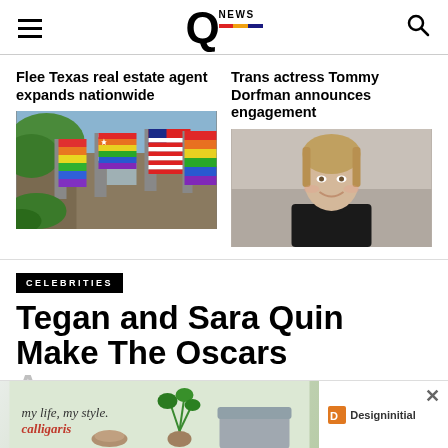Q NEWS
Flee Texas real estate agent expands nationwide
[Figure (photo): Photo of rainbow and Texas pride flags displayed on a building exterior]
Trans actress Tommy Dorfman announces engagement
[Figure (photo): Photo of Tommy Dorfman, a trans actress, smiling in a black top]
CELEBRITIES
Tegan and Sara Quin Make The Oscars Awesome
[Figure (photo): Advertisement banner: my life, my style. | calligaris — Designinitial]